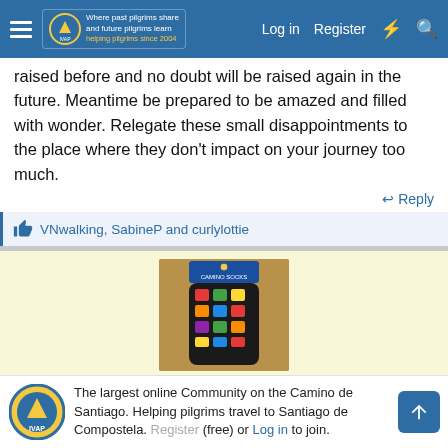Where past pilgrims share and future pilgrims learn. Helping pilgrims since 2004. Log in  Register
raised before and no doubt will be raised again in the future. Meantime be prepared to be amazed and filled with wonder. Relegate these small disappointments to the place where they don't impact on your journey too much.
Reply
VNwalking, SabineP and curlylottie
[Figure (photo): Photo of colorful patterned Camino socks with a yellow card tag at top]
A Collection of Camino Socks
Browse the Camino Socks collection on the forum shop
The largest online Community on the Camino de Santiago. Helping pilgrims travel to Santiago de Compostela. Register (free) or Log in to join.